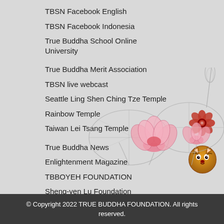TBSN Facebook English
TBSN Facebook Indonesia
True Buddha School Online University
True Buddha Merit Association
TBSN live webcast
Seattle Ling Shen Ching Tze Temple
Rainbow Temple
Taiwan Lei Tsang Temple
True Buddha News
Enlightenment Magazine
TBBOYEH FOUNDATION
Sheng-yen Lu Foundation
[Figure (illustration): Red flower icon (top right)]
[Figure (illustration): Tiger face icon (top right, below flower)]
[Figure (illustration): Lotus flower and leaf line art illustration with butterfly, bottom right of page]
© Copyright 2022 TRUE BUDDHA FOUNDATION. All rights reserved.